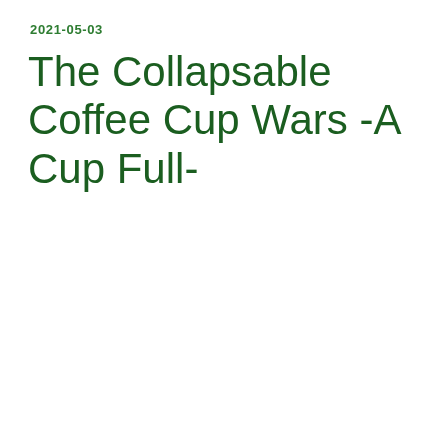2021-05-03
The Collapsable Coffee Cup Wars -A Cup Full-